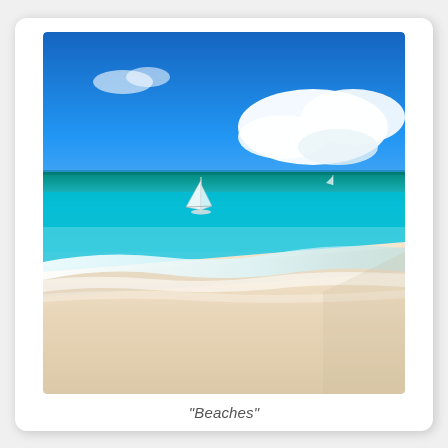[Figure (photo): Beach scene with turquoise ocean water, white foam waves on pale sandy shore, a sailboat in the distance on the horizon, bright blue sky with white clouds.]
"Beaches"